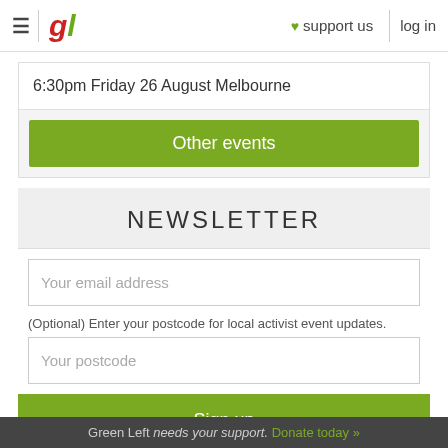≡ | gl ♥ support us | log in
6:30pm Friday 26 August Melbourne
Other events
NEWSLETTER
Your email address
(Optional) Enter your postcode for local activist event updates.
Your postcode
Sign up
Green Left needs your support. Donate today »